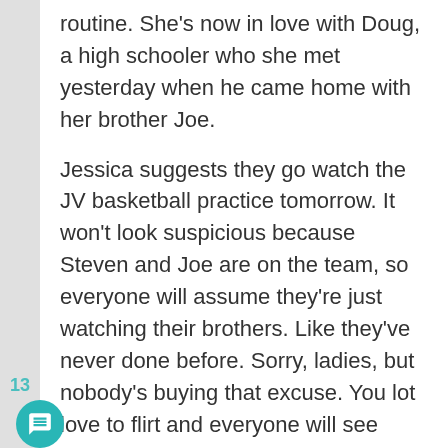routine. She's now in love with Doug, a high schooler who she met yesterday when he came home with her brother Joe.
Jessica suggests they go watch the JV basketball practice tomorrow. It won't look suspicious because Steven and Joe are on the team, so everyone will assume they're just watching their brothers. Like they've never done before. Sorry, ladies, but nobody's buying that excuse. You lot love to flirt and everyone will see through your "clever" ruse.
Lila says just imagine if a Unicorn starts dating a high school boy, everyone would be so jealous. I guess Jessica and Josh Angler doesn't count any more. Or more interestingly, the fact that they...